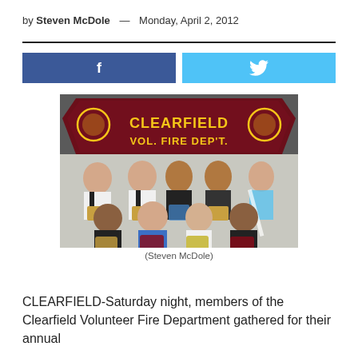by Steven McDole — Monday, April 2, 2012
[Figure (photo): Group photo of Clearfield Volunteer Fire Department members holding plaques and trophies, standing in two rows in front of a maroon banner reading 'CLEARFIELD VOL. FIRE DEP'T.']
(Steven McDole)
CLEARFIELD-Saturday night, members of the Clearfield Volunteer Fire Department gathered for their annual